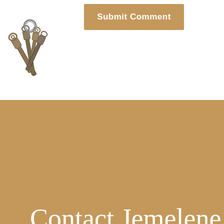[Figure (photo): Keys/tools clustered together, partially visible at top-left corner]
Submit Comment
Contact Jemelene
First Name
Last Name